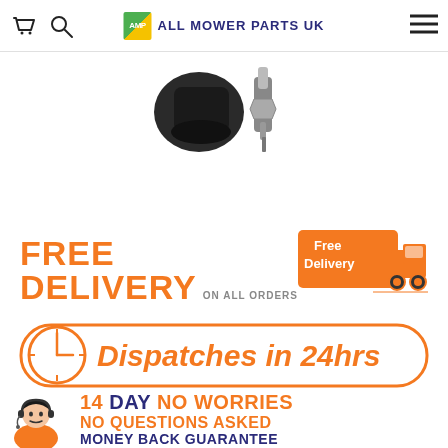All Mower Parts UK - navigation header with cart, search, logo, and menu icons
[Figure (photo): Product images - mower parts (black component and spark plug) partially visible at top of page]
[Figure (infographic): Free Delivery on All Orders banner with orange truck icon showing 'Free Delivery' text]
[Figure (infographic): Dispatches in 24hrs banner with clock icon inside orange rounded rectangle border]
[Figure (infographic): 14 Day No Worries No Questions Asked Money Back Guarantee banner with customer service representative illustration]